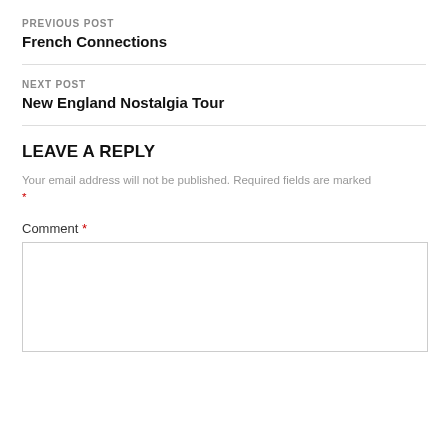PREVIOUS POST
French Connections
NEXT POST
New England Nostalgia Tour
LEAVE A REPLY
Your email address will not be published. Required fields are marked *
Comment *